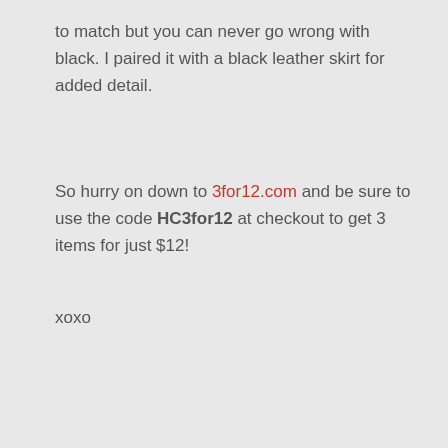to match but you can never go wrong with black. I paired it with a black leather skirt for added detail.
So hurry on down to 3for12.com and be sure to use the code HC3for12 at checkout to get 3 items for just $12!
xoxo
LABELS: FASHION, REVIEW   SHARE
Comments
Enter Comment